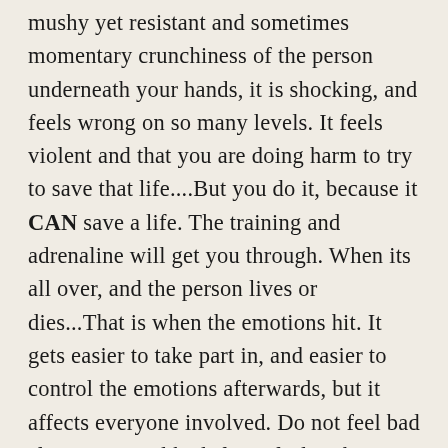mushy yet resistant and sometimes momentary crunchiness of the person underneath your hands, it is shocking, and feels wrong on so many levels. It feels violent and that you are doing harm to try to save that life....But you do it, because it CAN save a life. The training and adrenaline will get you through. When its all over, and the person lives or dies...That is when the emotions hit. It gets easier to take part in, and easier to control the emotions afterwards, but it affects everyone involved. Do not feel bad if you cry. Feel bad if you feel nothing. That is when you should worry. I will help in codes, but if I am not needed, I will take care of call lights and patient care while this is going on.